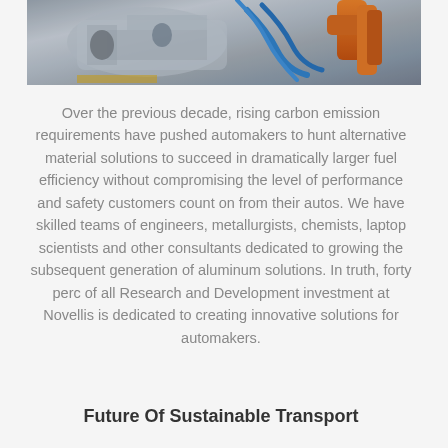[Figure (photo): Automotive manufacturing assembly line showing a car body frame with robotic arms including blue and orange robotic equipment]
Over the previous decade, rising carbon emission requirements have pushed automakers to hunt alternative material solutions to succeed in dramatically larger fuel efficiency without compromising the level of performance and safety customers count on from their autos. We have skilled teams of engineers, metallurgists, chemists, laptop scientists and other consultants dedicated to growing the subsequent generation of aluminum solutions. In truth, forty perc of all Research and Development investment at Novellis is dedicated to creating innovative solutions for automakers.
Future Of Sustainable Transport